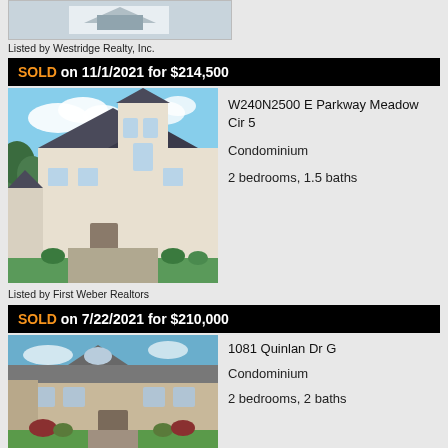[Figure (photo): Partial view of a house listing photo at the top of the page]
Listed by Westridge Realty, Inc.
SOLD on 11/1/2021 for $214,500
[Figure (photo): Photo of W240N2500 E Parkway Meadow Cir 5 condominium building, a large multi-story building with green lawn]
W240N2500 E Parkway Meadow Cir 5
Condominium
2 bedrooms, 1.5 baths
Listed by First Weber Realtors
SOLD on 7/22/2021 for $210,000
[Figure (photo): Photo of 1081 Quinlan Dr G condominium building]
1081 Quinlan Dr G
Condominium
2 bedrooms, 2 baths